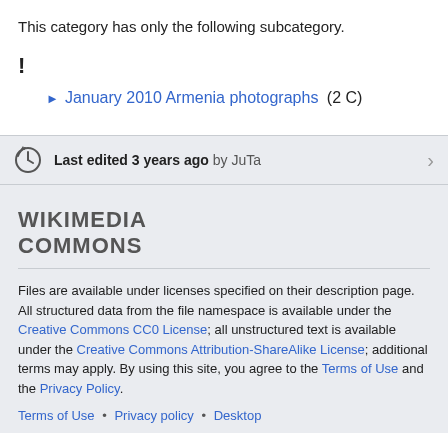This category has only the following subcategory.
!
► January 2010 Armenia photographs (2 C)
Last edited 3 years ago by JuTa
[Figure (logo): Wikimedia Commons logo text]
Files are available under licenses specified on their description page. All structured data from the file namespace is available under the Creative Commons CC0 License; all unstructured text is available under the Creative Commons Attribution-ShareAlike License; additional terms may apply. By using this site, you agree to the Terms of Use and the Privacy Policy.
Terms of Use • Privacy policy • Desktop